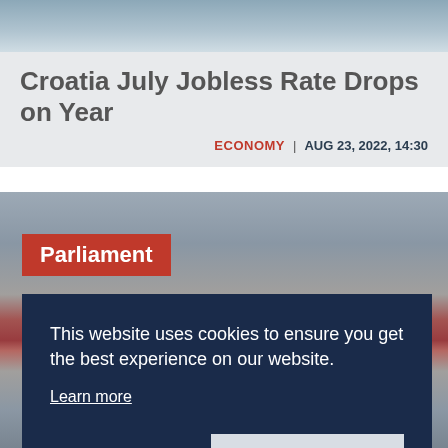[Figure (photo): Top banner image showing sky/building background]
Croatia July Jobless Rate Drops on Year
ECONOMY | AUG 23, 2022, 14:30
[Figure (photo): Photo of Croatian Parliament building with red and white national flag in foreground. A red label reading 'Parliament' overlays the top-left of the image.]
This website uses cookies to ensure you get the best experience on our website. Learn more
Decline  Allow cookies